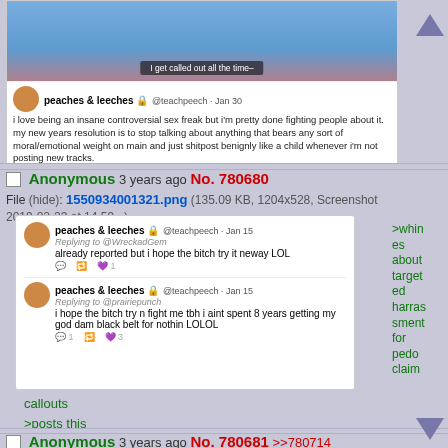[Figure (screenshot): Top portion of a tweet thread showing an animated character image with subtitle 'I get called out all the time-' and a tweet from peaches & leeches @teachpeech Jan 30 about being an insane controversial sex freak and new years resolution]
Anonymous 3 years ago No. 780680
File (hide): 1550934001321.png (135.09 KB, 1204x528, Screenshot 2019-02-23 at 14.59...)
[Figure (screenshot): Screenshot of two tweets from peaches & leeches @teachpeech Jan 15, first replying to @WreckadGem saying 'already reported but i hope the bitch try it neway LOL', second replying to @prairiepunch saying 'i hope the bitch try n fight me tbh i aint spent 8 years getting my god dam black belt for nothin LOLOL']
>whines about targeted harassment for pedo claim
callouts
>posts this
Anonymous 3 years ago No. 780681  >>780714  >>780878
File (hide): 1550934178070.png (264.16 KB, 1194x904, Screenshot 2019-02-23 at 15.02...)